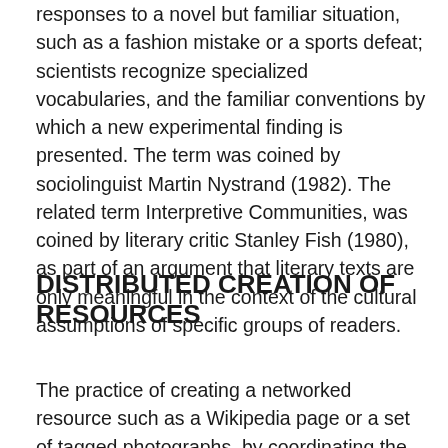responses to a novel but familiar situation, such as a fashion mistake or a sports defeat; scientists recognize specialized vocabularies, and the familiar conventions by which a new experimental finding is presented. The term was coined by sociolinguist Martin Nystrand (1982). The related term Interpretive Communities, was coined by literary critic Stanley Fish (1980), as part of an argument that literary texts are only meaningful in the context of the cultural assumptions of specific groups of readers.
DISTRIBUTED CREATION OF RESOURCES
The practice of creating a networked resource such as a Wikipedia page or a set of tagged photographs, by coordinating the contributions of creators located in